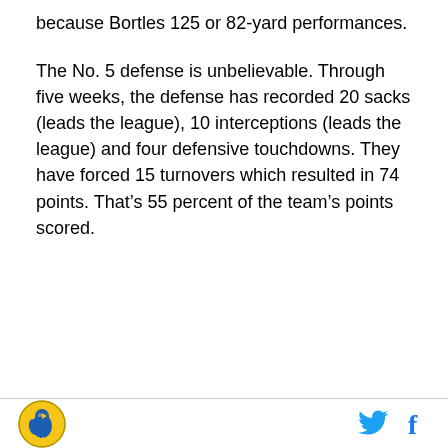because Bortles 125 or 82-yard performances.
The No. 5 defense is unbelievable. Through five weeks, the defense has recorded 20 sacks (leads the league), 10 interceptions (leads the league) and four defensive touchdowns. They have forced 15 turnovers which resulted in 74 points. That’s 55 percent of the team’s points scored.
[Figure (logo): Sports team logo — circular yellow and blue bird emblem]
[Figure (other): Twitter and Facebook social media share icons]